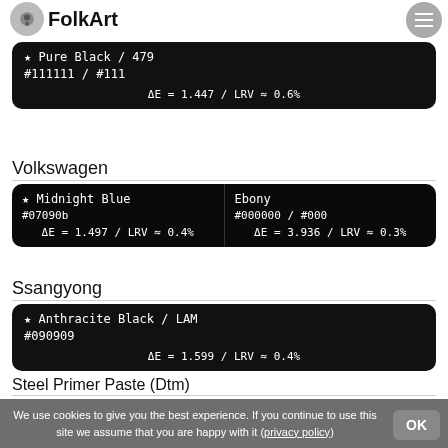FolkArt
| ★ Pure Black / 479 |  |
| #111111 / #111 |  |
| ΔE = 1.447 / LRV ≈ 0.6% |  |
Volkswagen
| ★ Midnight Blue | Ebony |
| #07090b | #000000 / #000 |
| ΔE = 1.497 / LRV ≈ 0.4% | ΔE = 3.936 / LRV ≈ 0.3% |
Ssangyong
| ★ Anthracite Black / LAM |  |
| #090909 |  |
| ΔE = 1.599 / LRV ≈ 0.4% |  |
Steel Primer Paste (Dtm)
| ★ Volvo Chassis Seawolf Blue Mat / 1943 | Mercedes Chassis Schwarz Sdglz / 8124 |
We use cookies to give you the best experience. If you continue to use this site we assume that you are happy with it (privacy policy)